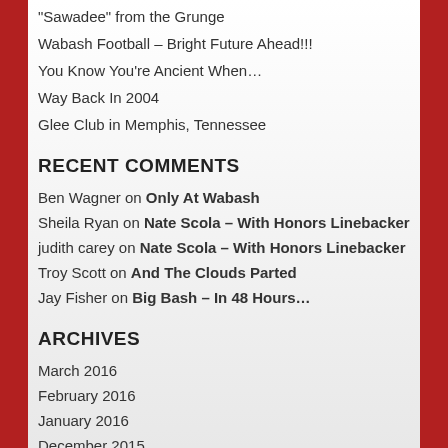“Sawadee” from the Grunge
Wabash Football – Bright Future Ahead!!!
You Know You’re Ancient When…
Way Back In 2004
Glee Club in Memphis, Tennessee
RECENT COMMENTS
Ben Wagner on Only At Wabash
Sheila Ryan on Nate Scola – With Honors Linebacker
judith carey on Nate Scola – With Honors Linebacker
Troy Scott on And The Clouds Parted
Jay Fisher on Big Bash – In 48 Hours…
ARCHIVES
March 2016
February 2016
January 2016
December 2015
November 2015